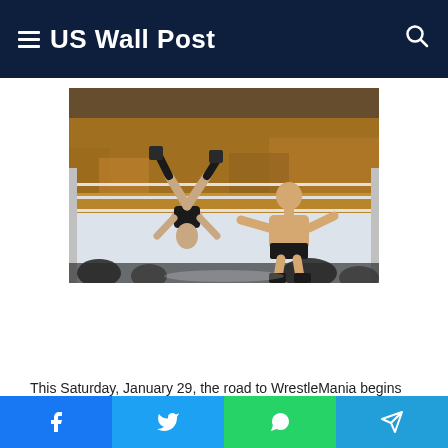US Wall Post
[Figure (photo): Two WWE wrestlers in a wrestling ring. One wrestler is airborne performing a kick move while the other stands with arms outstretched. A large crowd is visible in the background.]
This Saturday, January 29, the road to WrestleMania begins with the Royal Rumble match. Inside The Dome at
Facebook | Twitter | WhatsApp | Telegram